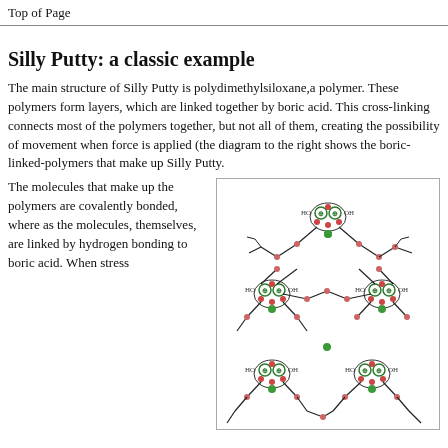Top of Page
Silly Putty: a classic example
The main structure of Silly Putty is polydimethylsiloxane,a polymer. These polymers form layers, which are linked together by boric acid. This cross-linking connects most of the polymers together, but not all of them, creating the possibility of movement when force is applied (the diagram to the right shows the boric-linked-polymers that make up Silly Putty.
[Figure (illustration): Molecular diagram showing the boric-linked polymer structure of Silly Putty (polydimethylsiloxane cross-linked with boric acid). Green nodes represent boron atoms in ring structures with HO labels, red dots represent oxygen atoms, and black lines show the polymer chain connections.]
The molecules that make up the polymers are covalently bonded, where as the molecules, themselves, are linked by hydrogen bonding to boric acid. When stress